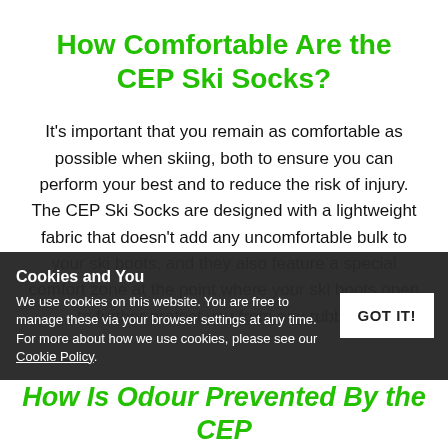How Comfortable Are the CEP Ski Socks?
It's important that you remain as comfortable as possible when skiing, both to ensure you can perform your best and to reduce the risk of injury. The CEP Ski Socks are designed with a lightweight fabric that doesn't add any uncomfortable bulk to your ski boots, and they also feature a special comfort zone at the point where your ski boots open to further protect you from any rubbing.
Cookies and You
We use cookies on this website. You are free to manage these via your browser settings at any time. For more about how we use cookies, please see our Cookie Policy.
GOT IT!
How Is Odour Prevented By the CEP Socks?